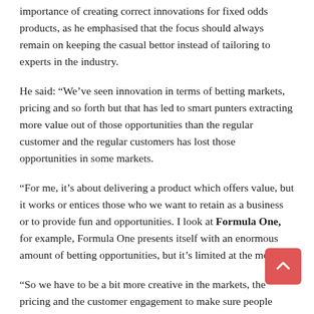importance of creating correct innovations for fixed odds products, as he emphasised that the focus should always remain on keeping the casual bettor instead of tailoring to experts in the industry.
He said: “We’ve seen innovation in terms of betting markets, pricing and so forth but that has led to smart punters extracting more value out of those opportunities than the regular customer and the regular customers has lost those opportunities in some markets.
“For me, it’s about delivering a product which offers value, but it works or entices those who we want to retain as a business or to provide fun and opportunities. I look at Formula One, for example, Formula One presents itself with an enormous amount of betting opportunities, but it’s limited at the moment.
“So we have to be a bit more creative in the markets, the pricing and the customer engagement to make sure people aren’t over-stretching themselves and they are getting value from their betting opportunity.”
Innovation runs parallel to the topic of regulation with a growing